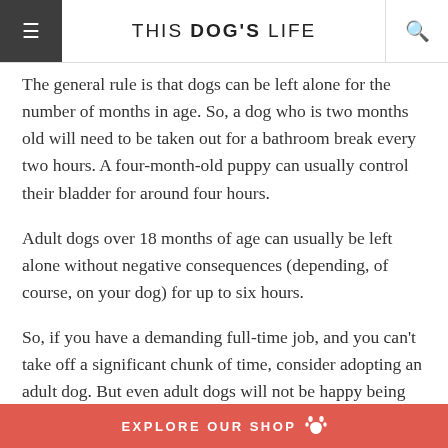THIS DOG'S LIFE
The general rule is that dogs can be left alone for the number of months in age. So, a dog who is two months old will need to be taken out for a bathroom break every two hours. A four-month-old puppy can usually control their bladder for around four hours.
Adult dogs over 18 months of age can usually be left alone without negative consequences (depending, of course, on your dog) for up to six hours.
So, if you have a demanding full-time job, and you can't take off a significant chunk of time, consider adopting an adult dog. But even adult dogs will not be happy being on their own for more than a few hours a day.
Do Right by Your Dog If You
EXPLORE OUR SHOP